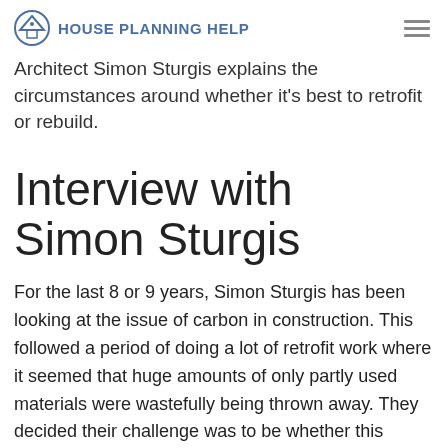House Planning Help
Architect Simon Sturgis explains the circumstances around whether it's best to retrofit or rebuild.
Interview with Simon Sturgis
For the last 8 or 9 years, Simon Sturgis has been looking at the issue of carbon in construction. This followed a period of doing a lot of retrofit work where it seemed that huge amounts of only partly used materials were wastefully being thrown away. They decided their challenge was to be whether this